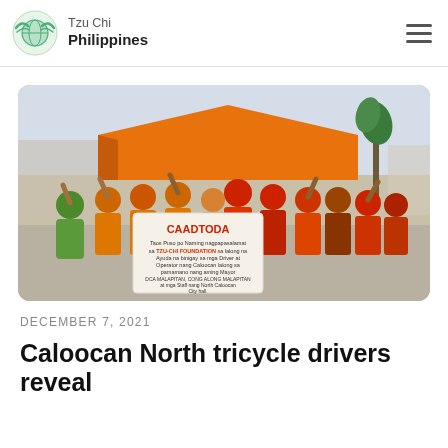Tzu Chi Philippines
[Figure (photo): Group of tricycle drivers and operators wearing orange and red shirts, gathered outdoors under an orange canopy tent. Several are raising their hands. In the foreground, a large white banner reads 'CAADTODA' with text in Filipino expressing gratitude to Tzu-Chi Foundation for aid given to drivers and operators of Caloocan tricycles, mentioning Mayor DCA Malapitan, Cong. Along Malapitan, and staff of North Caloocan City Hall. Palm trees and buildings are visible in the background.]
DECEMBER 7, 2021
Caloocan North tricycle drivers reveal